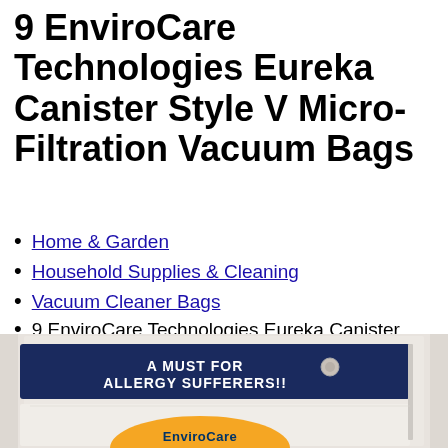9 EnviroCare Technologies Eureka Canister Style V Micro-Filtration Vacuum Bags
Home & Garden
Household Supplies & Cleaning
Vacuum Cleaner Bags
9 EnviroCare Technologies Eureka Canister Style V Micro-Filtration Vacuum Bags
[Figure (photo): Product photo of EnviroCare Technologies vacuum bags packaging. Shows a bag with dark navy blue header band reading 'A MUST FOR ALLERGY SUFFERERS!!' and the EnviroCare logo partially visible at the bottom.]